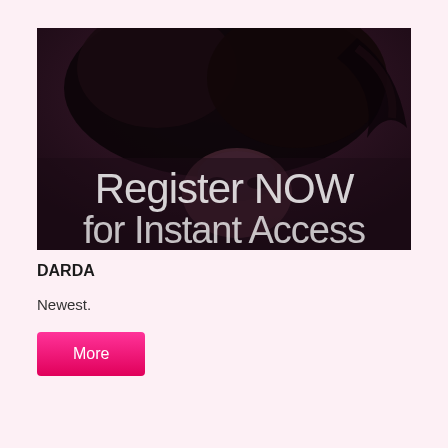[Figure (photo): Dark promotional image showing a person with curly dark hair, face partially visible, overlaid with large white text reading 'Register NOW for Instant Access']
DARDA
Newest.
More